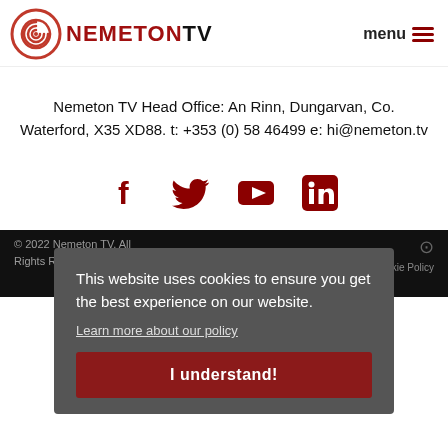[Figure (logo): Nemeton TV logo with red spiral and bold text NEMETON TV]
menu ≡
Nemeton TV Head Office: An Rinn, Dungarvan, Co. Waterford, X35 XD88. t: +353 (0) 58 46499 e: hi@nemeton.tv
[Figure (infographic): Social media icons: Facebook, Twitter, YouTube, LinkedIn — dark red color]
This website uses cookies to ensure you get the best experience on our website.
Learn more about our policy
I understand!
© 2022 Nemeton TV. All Rights Reserved.  Privacy Policy  Cookie Policy